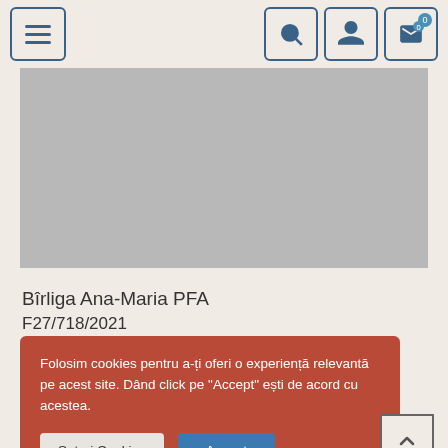[Figure (screenshot): Navigation bar with hamburger menu icon on the left and search, user, and cart icons on the right, all with blue border styling]
[Figure (photo): Gray placeholder image area]
Bîrliga Ana-Maria PFA
F27/718/2021
CUI: 42381210
Folosim cookies pentru a-ți oferi o experiență relevantă pe acest site. Dând click pe "Accept" ești de acord cu acestea.
Setari Cookies
Accept